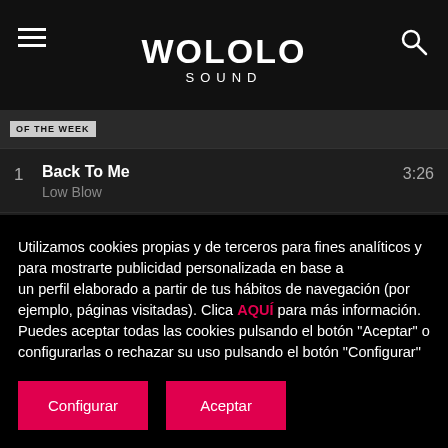WOLOLO SOUND
1  Back To Me  Low Blow  3:26
2  Consciousness - Eric Prydz Remix  Anyma, Chris Avantgarde, Eric Prydz  4:04
3  Beyond The Sky  Chocola...  2:22
Utilizamos cookies propias y de terceros para fines analíticos y para mostrarte publicidad personalizada en base a un perfil elaborado a partir de tus hábitos de navegación (por ejemplo, páginas visitadas). Clica AQUÍ para más información. Puedes aceptar todas las cookies pulsando el botón "Aceptar" o configurarlas o rechazar su uso pulsando el botón "Configurar"
Configurar   Aceptar